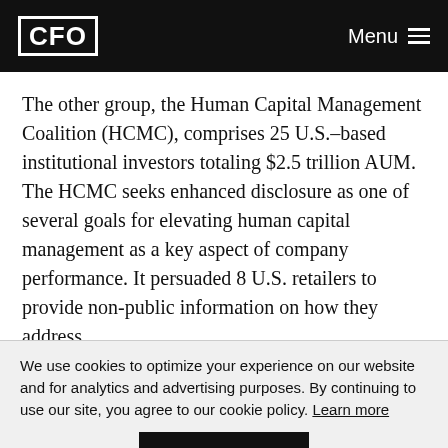CFO | Menu
The other group, the Human Capital Management Coalition (HCMC), comprises 25 U.S.–based institutional investors totaling $2.5 trillion AUM. The HCMC seeks enhanced disclosure as one of several goals for elevating human capital management as a key aspect of company performance. It persuaded 8 U.S. retailers to provide non-public information on how they address
We use cookies to optimize your experience on our website and for analytics and advertising purposes. By continuing to use our site, you agree to our cookie policy. Learn more
Got it!